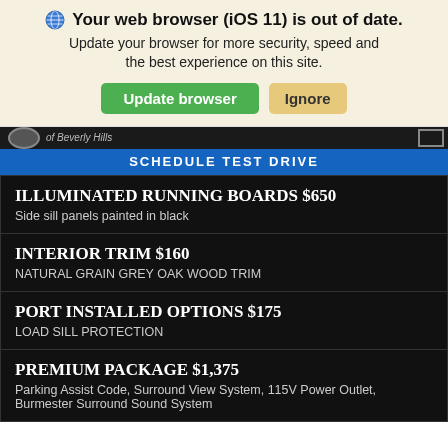Your web browser (iOS 11) is out of date. Update your browser for more security, speed and the best experience on this site.
Update browser | Ignore
of Beverly Hills | SCHEDULE TEST DRIVE
ILLUMINATED RUNNING BOARDS $650 — Side sill panels painted in black
INTERIOR TRIM $160 — NATURAL GRAIN GREY OAK WOOD TRIM
PORT INSTALLED OPTIONS $175 — LOAD SILL PROTECTION
PREMIUM PACKAGE $1,375 — Parking Assist Code, Surround View System, 115V Power Outlet, Burmester Surround Sound System